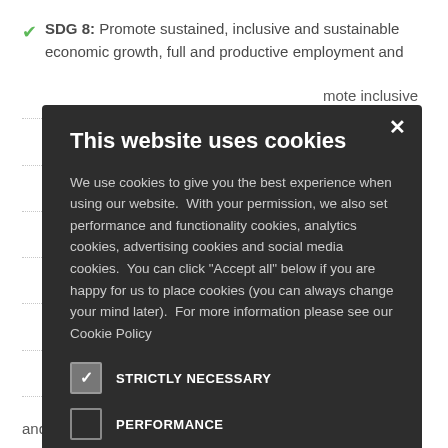SDG 8: Promote sustained, inclusive and sustainable economic growth, full and productive employment and
[Figure (screenshot): Cookie consent modal dialog on a dark background overlay. Title: 'This website uses cookies'. Body text about cookies and permission. Checkboxes for: STRICTLY NECESSARY (checked), PERFORMANCE, ANALYTICS, FUNCTIONALITY, SOCIAL MEDIA. Close button (X) in top right.]
and marine resources for sustainable development